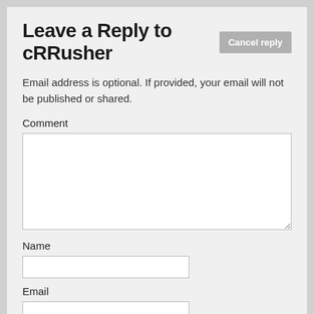Leave a Reply to cRRusher
Email address is optional. If provided, your email will not be published or shared.
Comment
Name
Email